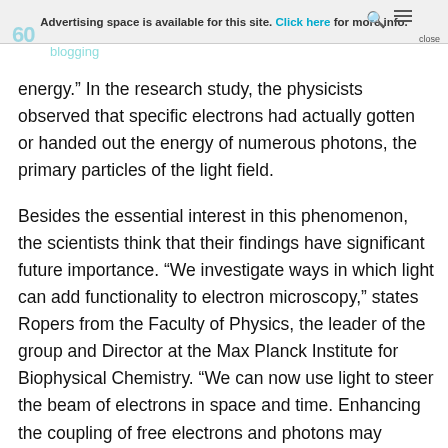Advertising space is available for this site. Click here for more info.
energy.” In the research study, the physicists observed that specific electrons had actually gotten or handed out the energy of numerous photons, the primary particles of the light field.
Besides the essential interest in this phenomenon, the scientists think that their findings have significant future importance. “We investigate ways in which light can add functionality to electron microscopy,” states Ropers from the Faculty of Physics, the leader of the group and Director at the Max Planck Institute for Biophysical Chemistry. “We can now use light to steer the beam of electrons in space and time. Enhancing the coupling of free electrons and photons may eventually lead to entirely new quantum technologies for nanoscale